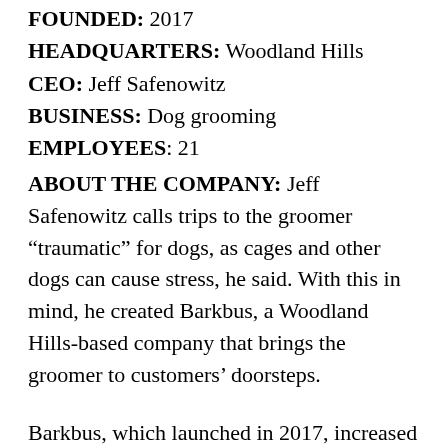FOUNDED: 2017
HEADQUARTERS: Woodland Hills
CEO: Jeff Safenowitz
BUSINESS: Dog grooming
EMPLOYEES: 21
ABOUT THE COMPANY: Jeff Safenowitz calls trips to the groomer “traumatic” for dogs, as cages and other dogs can cause stress, he said. With this in mind, he created Barkbus, a Woodland Hills-based company that brings the groomer to customers’ doorsteps.
Barkbus, which launched in 2017, increased its mobile capabilities amid the pandemic. With its fleet of 10 full-service vans, the company…